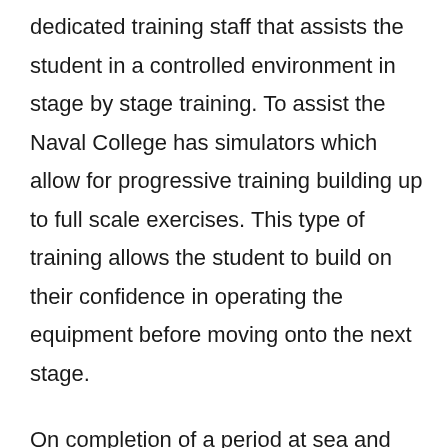dedicated training staff that assists the student in a controlled environment in stage by stage training. To assist the Naval College has simulators which allow for progressive training building up to full scale exercises. This type of training allows the student to build on their confidence in operating the equipment before moving onto the next stage.
On completion of a period at sea and having successfully reached the required standard in their task book, O/Comops will return to the Naval College for further training on a 6 week advancement course. This course tests the student